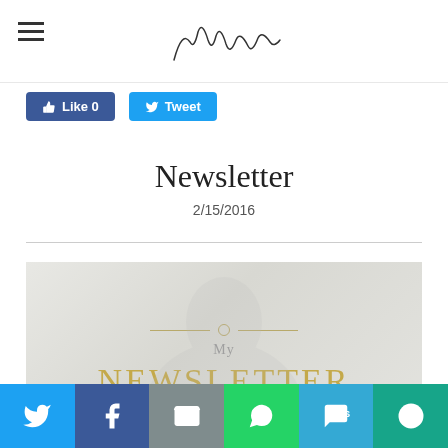[Hamburger menu icon] [Logo/signature]
[Figure (screenshot): Facebook Like button (blue) and Twitter Tweet button (blue) social sharing buttons]
Newsletter
2/15/2016
[Figure (illustration): Newsletter header image with faded background, decorative line with circle, text 'My' and large gold text 'NEWSLETTER']
[Figure (infographic): Bottom share bar with Twitter, Facebook, Email, WhatsApp, SMS, and More share buttons in colored blocks]